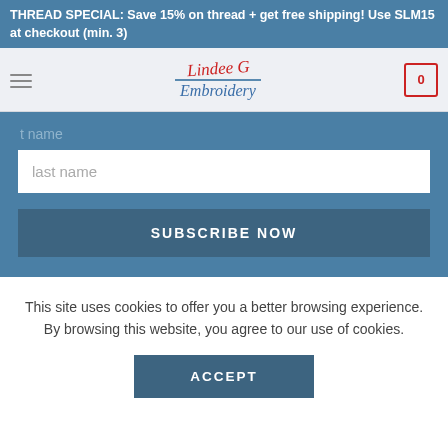THREAD SPECIAL: Save 15% on thread + get free shipping! Use SLM15 at checkout (min. 3)
[Figure (logo): Lindee G Embroidery logo with script text in red and blue, with a needle illustration]
last name
SUBSCRIBE NOW
This site uses cookies to offer you a better browsing experience. By browsing this website, you agree to our use of cookies.
ACCEPT